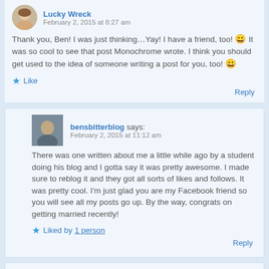Lucky Wreck says: February 2, 2015 at 8:27 am
Thank you, Ben! I was just thinking…Yay! I have a friend, too! 😀 It was so cool to see that post Monochrome wrote. I think you should get used to the idea of someone writing a post for you, too! 😀
Like
Reply
bensbitterblog says: February 2, 2015 at 11:12 am
There was one written about me a little while ago by a student doing his blog and I gotta say it was pretty awesome. I made sure to reblog it and they got all sorts of likes and follows. It was pretty cool. I'm just glad you are my Facebook friend so you will see all my posts go up. By the way, congrats on getting married recently!
Liked by 1 person
Reply
Lucky Wreck says: